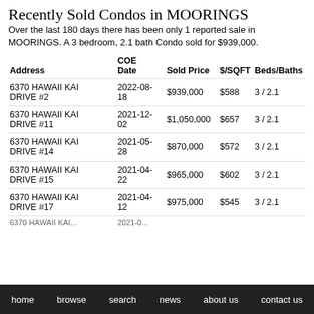Recently Sold Condos in MOORINGS
Over the last 180 days there has been only 1 reported sale in MOORINGS. A 3 bedroom, 2.1 bath Condo sold for $939,000.
| Address | COE Date | Sold Price | $/SQFT | Beds/Baths |
| --- | --- | --- | --- | --- |
| 6370 HAWAII KAI DRIVE #2 | 2022-08-18 | $939,000 | $588 | 3 / 2.1 |
| 6370 HAWAII KAI DRIVE #11 | 2021-12-02 | $1,050,000 | $657 | 3 / 2.1 |
| 6370 HAWAII KAI DRIVE #14 | 2021-05-28 | $870,000 | $572 | 3 / 2.1 |
| 6370 HAWAII KAI DRIVE #15 | 2021-04-22 | $965,000 | $602 | 3 / 2.1 |
| 6370 HAWAII KAI DRIVE #17 | 2021-04-12 | $975,000 | $545 | 3 / 2.1 |
home  browse  search  news  about us  contact us